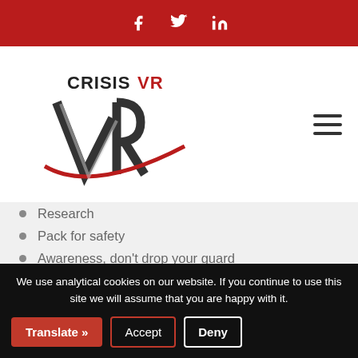Social media icons: Facebook, Twitter, LinkedIn
[Figure (logo): CrisisVR logo with stylized VR letters and red swoosh, hamburger menu icon on right]
Research
Pack for safety
Awareness, don't drop your guard
Communication
Blend in, not stand out
Course Topics
(partially visible faded text)
We use analytical cookies on our website. If you continue to use this site we will assume that you are happy with it.